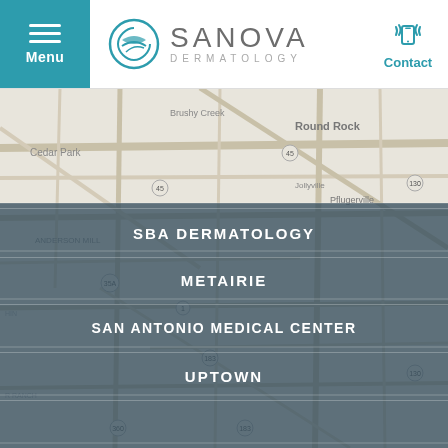Menu | Sanova Dermatology | Contact
[Figure (map): Google Maps view showing Austin TX area including Cedar Park, Round Rock, Brushy Creek, Jollyville, Pflugerville, Anderson Mill areas with road network]
SBA DERMATOLOGY
METAIRIE
SAN ANTONIO MEDICAL CENTER
UPTOWN
OLD METAIRIE
BEE CAVE & LAKEWAY
LAFAYETTE